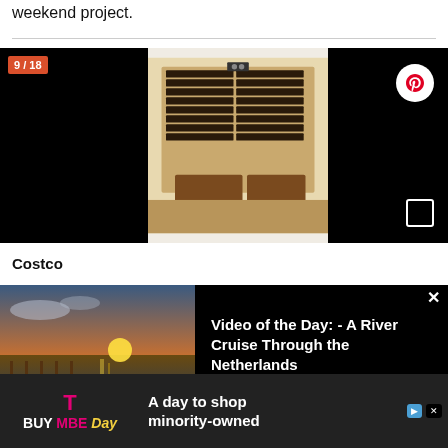weekend project.
[Figure (photo): Sauna or infrared cabin unit shown in center panel with wooden construction and heater panels; left and right panels are black. Slide counter badge shows 9/18. Pinterest button and expand icon on right panel.]
Costco
[Figure (photo): Video overlay: thumbnail of a river cruise at sunset on the left, text panel on the right reading 'Video of the Day: - A River Cruise Through the Netherlands' with a close X button.]
reclaim
remov
[Figure (other): Advertisement banner for T-Mobile BUY MBE Day with tagline 'A day to shop minority-owned']